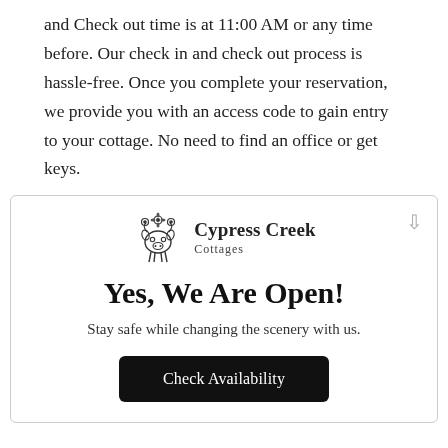and Check out time is at 11:00 AM or any time before. Our check in and check out process is hassle-free. Once you complete your reservation, we provide you with an access code to gain entry to your cottage. No need to find an office or get keys.
[Figure (logo): Cypress Creek Cottages logo with decorative cow/floral icon on left and text 'Cypress Creek Cottages' on right]
Yes, We Are Open!
Stay safe while changing the scenery with us.
Check Availability